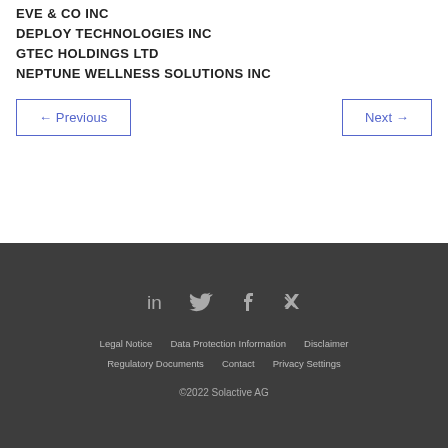EVE & CO INC
DEPLOY TECHNOLOGIES INC
GTEC HOLDINGS LTD
NEPTUNE WELLNESS SOLUTIONS INC
← Previous
Next →
[Figure (other): Social media icons: LinkedIn, Twitter, Facebook, Xing]
Legal Notice  Data Protection Information  Disclaimer  Regulatory Documents  Contact  Privacy Settings  ©2022 Solactive AG